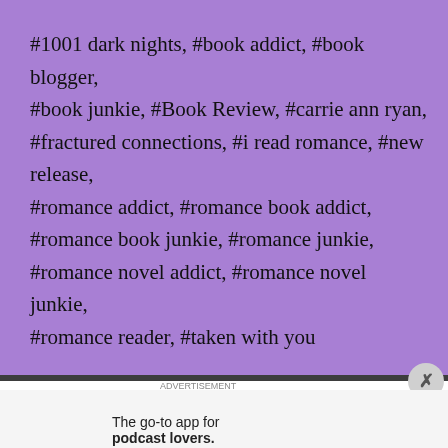#1001 dark nights, #book addict, #book blogger, #book junkie, #Book Review, #carrie ann ryan, #fractured connections, #i read romance, #new release, #romance addict, #romance book addict, #romance book junkie, #romance junkie, #romance novel addict, #romance novel junkie, #romance reader, #taken with you
[Figure (other): Advertisement banner for Pocket Casts app with colorful logo and text 'The go-to app for podcast lovers.']